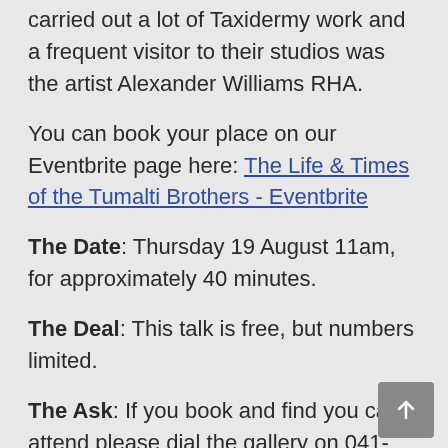carried out a lot of Taxidermy work and a frequent visitor to their studios was the artist Alexander Williams RHA.
You can book your place on our Eventbrite page here: The Life & Times of the Tumalti Brothers - Eventbrite
The Date: Thursday 19 August 11am, for approximately 40 minutes.
The Deal: This talk is free, but numbers limited.
The Ask: If you book and find you can't attend please dial the gallery on 041-9803311 as soon as you know, so your place(s) can be released.